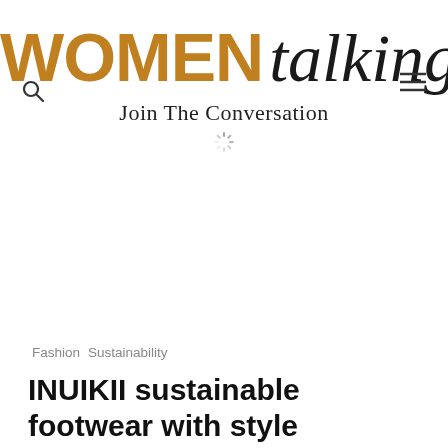WOMEN talking — Join The Conversation
Fashion   Sustainability
INUIKII sustainable footwear with style